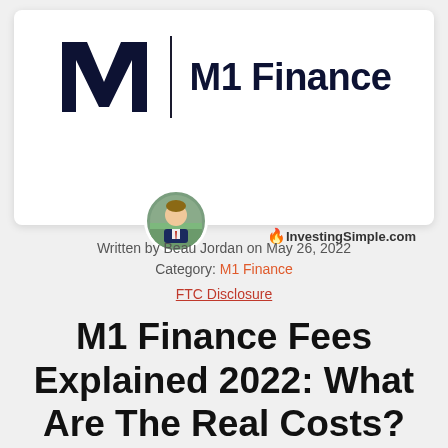[Figure (logo): M1 Finance logo — stylized M letter mark in dark navy with vertical divider line and 'M1 Finance' text in bold dark navy]
[Figure (photo): Circular author headshot of Beau Jordan, a man in a suit jacket, outdoors with green foliage background]
InvestingSimple.com
Written by Beau Jordan on May 26, 2022
Category: M1 Finance
FTC Disclosure
M1 Finance Fees Explained 2022: What Are The Real Costs?